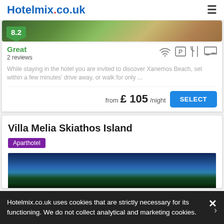Hotelmix.co.uk
8.2
Great
2 reviews
While staying in the hotel you are invited to discover Xanemos Beach, set within a few minutes' drive away, or walk for only ...
from £ 105/night
SELECT
Villa Melia Skiathos Island
Aparthotel
[Figure (photo): Hotel exterior photo with blue sky and trees]
Hotelmix.co.uk uses cookies that are strictly necessary for its functioning. We do not collect analytical and marketing cookies.